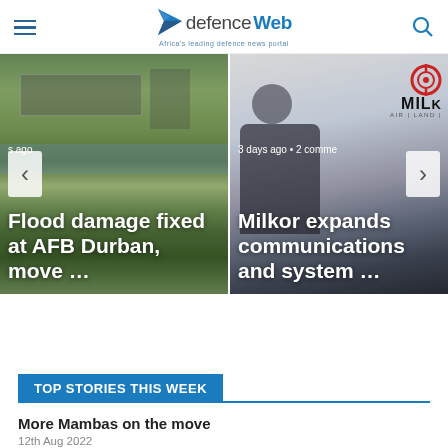defenceWeb — Africa's leading defence news portal
[Figure (photo): Carousel with two news story images. Left: aerial view of AFB Durban showing flood damage with headline 'Flood damage fixed at AFB Durban, move ...' Left and right navigation arrows visible. Right: Milkor communications event photo with headline 'Milkor expands communications and system ...' with '3 days ago • 2 comme' metadata.]
TOP STORIES THIS WEEK
More Mambas on the move
12th Aug 2022